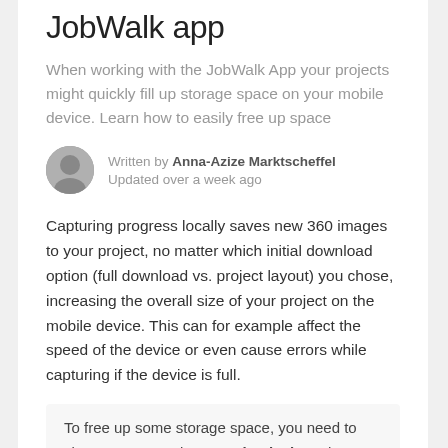JobWalk app
When working with the JobWalk App your projects might quickly fill up storage space on your mobile device. Learn how to easily free up space
Written by Anna-Azize Marktscheffel
Updated over a week ago
Capturing progress locally saves new 360 images to your project, no matter which initial download option (full download vs. project layout) you chose, increasing the overall size of your project on the mobile device. This can for example affect the speed of the device or even cause errors while capturing if the device is full.
To free up some storage space, you need to clean up your projects on the device. The Free up storage space function 'strips' your downloaded project of the